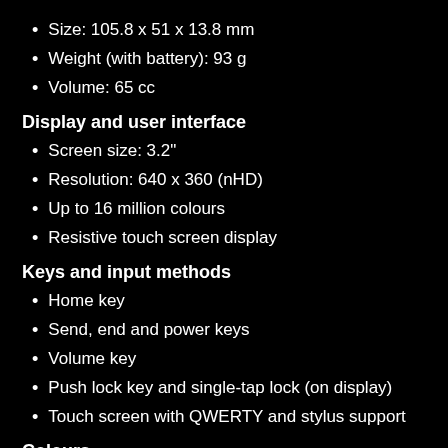Size: 105.8 x 51 x 13.8 mm
Weight (with battery): 93 g
Volume: 65 cc
Display and user interface
Screen size: 3.2"
Resolution: 640 x 360 (nHD)
Up to 16 million colours
Resistive touch screen display
Keys and input methods
Home key
Send, end and power keys
Volume key
Push lock key and single-tap lock (on display)
Touch screen with QWERTY and stylus support
Colours
Available colours:
Graphite black / Graphite black